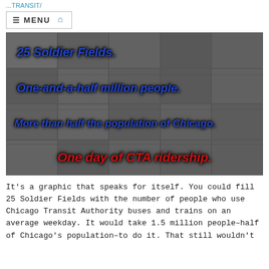...TRANSIT/
[Figure (infographic): A grid of repeated aerial/overhead images of Soldier Field stadium in grayscale, with overlaid text lines: '25 Soldier Fields.' in blue italic bold, 'One-and-a-half million people.' in blue italic bold, 'More than half the population of Chicago.' in blue italic bold, and 'One day of CTA ridership.' in red italic bold.]
It's a graphic that speaks for itself. You could fill 25 Soldier Fields with the number of people who use Chicago Transit Authority buses and trains on an average weekday. It would take 1.5 million people–half of Chicago's population–to do it. That still wouldn't